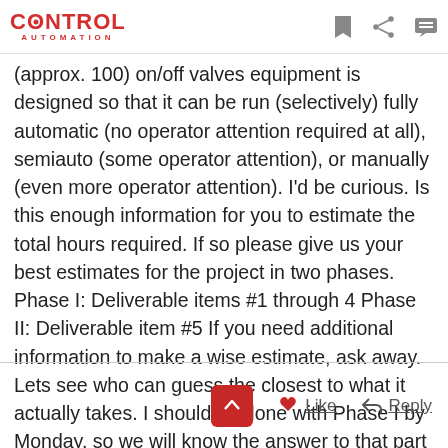CONTROL AUTOMATION
(approx. 100) on/off valves equipment is designed so that it can be run (selectively) fully automatic (no operator attention required at all), semiauto (some operator attention), or manually (even more operator attention). I'd be curious. Is this enough information for you to estimate the total hours required. If so please give us your best estimates for the project in two phases. Phase I: Deliverable items #1 through 4 Phase II: Deliverable item #5 If you need additional information to make a wise estimate, ask away. Lets see who can guess the closest to what it actually takes. I should be done with Phase I by Monday, so we will know the answer to that part of the problem soon.
Like  Reply